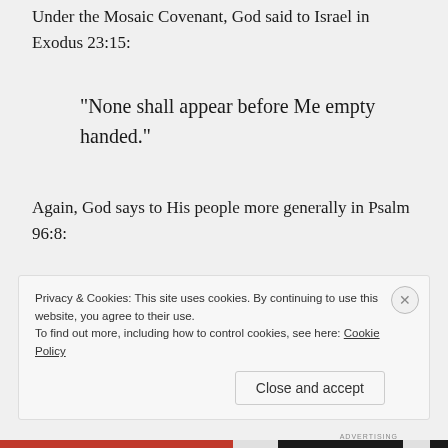Under the Mosaic Covenant, God said to Israel in Exodus 23:15:
“None shall appear before Me empty handed.”
Again, God says to His people more generally in Psalm 96:8:
Privacy & Cookies: This site uses cookies. By continuing to use this website, you agree to their use. To find out more, including how to control cookies, see here: Cookie Policy
Close and accept